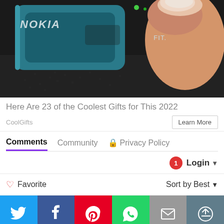[Figure (photo): Nokia FIT device being held by a thumb on a dark textured surface]
Here Are 23 of the Coolest Gifts for This 2022
CoolGifts
Learn More
Comments   Community   Privacy Policy
1  Login ▾
♡ Favorite   Sort by Best ▾
[Figure (infographic): Social share bar with Twitter, Facebook, Pinterest, WhatsApp, Email, and More buttons]